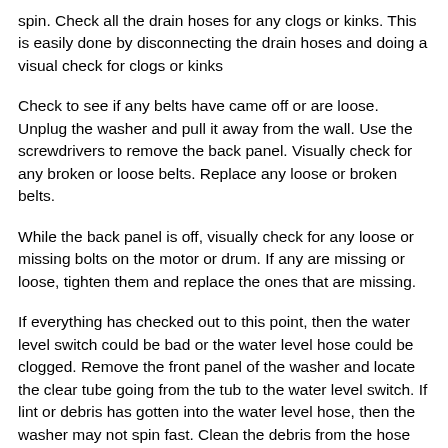spin. Check all the drain hoses for any clogs or kinks. This is easily done by disconnecting the drain hoses and doing a visual check for clogs or kinks
Check to see if any belts have came off or are loose. Unplug the washer and pull it away from the wall. Use the screwdrivers to remove the back panel. Visually check for any broken or loose belts. Replace any loose or broken belts.
While the back panel is off, visually check for any loose or missing bolts on the motor or drum. If any are missing or loose, tighten them and replace the ones that are missing.
If everything has checked out to this point, then the water level switch could be bad or the water level hose could be clogged. Remove the front panel of the washer and locate the clear tube going from the tub to the water level switch. If lint or debris has gotten into the water level hose, then the washer may not spin fast. Clean the debris from the hose by